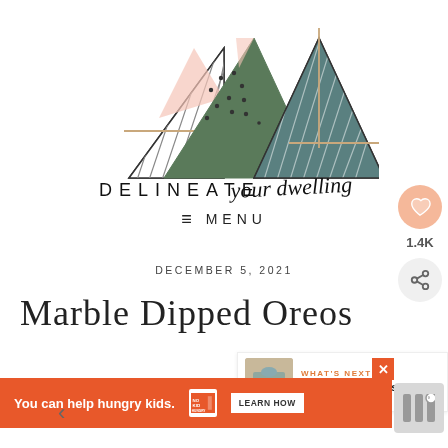[Figure (logo): Delineate Your Dwelling logo with geometric triangle shapes in pink, green, and teal with diagonal stripe patterns, and the text 'DELINEATE your dwelling' below]
≡ MENU
DECEMBER 5, 2021
Marble Dipped Oreos
[Figure (other): Sidebar social sharing icons: heart/save button with peach background, 1.4K count, and share button]
[Figure (other): What's Next panel showing DIY Marbled Canister thumbnail and title]
[Figure (other): Orange advertisement bar: 'You can help hungry kids.' with No Kid Hungry logo and LEARN HOW button]